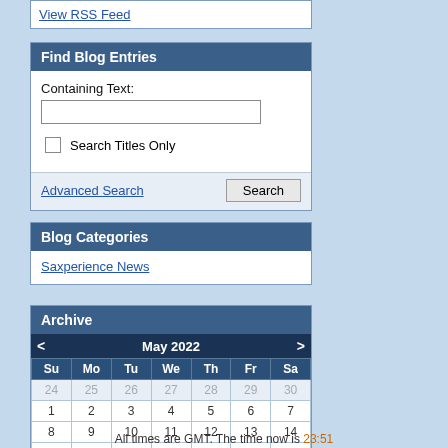View RSS Feed
Find Blog Entries
Containing Text:
Search Titles Only
Advanced Search
Blog Categories
Saxperience News
Archive
| Su | Mo | Tu | We | Th | Fr | Sa |
| --- | --- | --- | --- | --- | --- | --- |
| 24 | 25 | 26 | 27 | 28 | 29 | 30 |
| 1 | 2 | 3 | 4 | 5 | 6 | 7 |
| 8 | 9 | 10 | 11 | 12 | 13 | 14 |
| 15 | 16 | 17 | 18 | 19 | 20 | 21 |
| 22 | 23 | 24 | 25 | 26 | 27 | 28 |
| 29 | 30 | 31 | 1 | 2 | 3 | 4 |
All times are GMT. The time now is 23:51